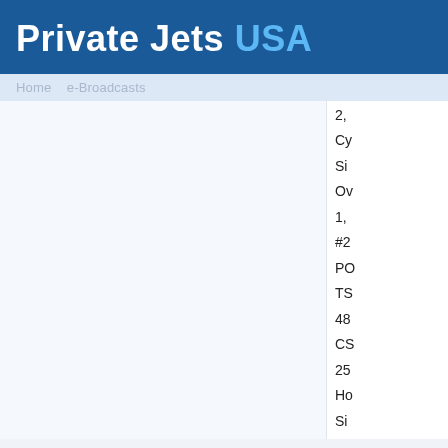Private Jets USA
Home  e-Broadcasts
2,
Cy
Si
Ov
1,
#2
PO
TS
48
CS
25
Ho
Si
Ov
3,
Cy
Si
Ov
1,
M